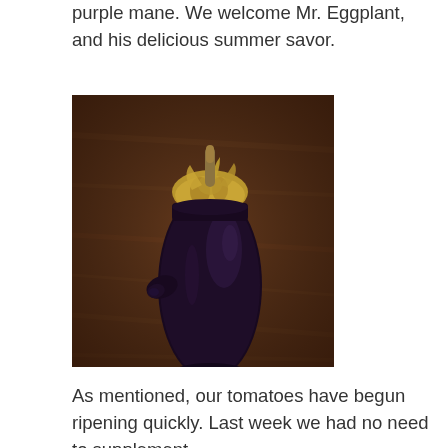purple mane. We welcome Mr. Eggplant, and his delicious summer savor.
[Figure (photo): Close-up photograph of a large eggplant standing upright on a wooden table surface. The eggplant has deep dark purple-black glossy skin with a tan/brown dried calyx at the top. A small protrusion extends from the left side of the eggplant body.]
As mentioned, our tomatoes have begun ripening quickly. Last week we had no need to supplement